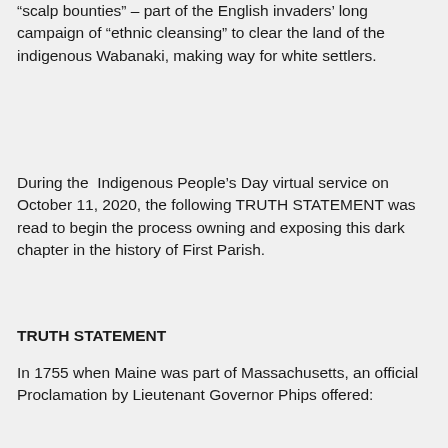“scalp bounties” – part of the English invaders’ long campaign of “ethnic cleansing” to clear the land of the indigenous Wabanaki, making way for white settlers.
During the Indigenous People’s Day virtual service on October 11, 2020, the following TRUTH STATEMENT was read to begin the process owning and exposing this dark chapter in the history of First Parish.
TRUTH STATEMENT
In 1755 when Maine was part of Massachusetts, an official Proclamation by Lieutenant Governor Phips offered: